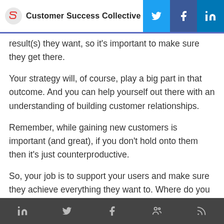Customer Success Collective
result(s) they want, so it's important to make sure they get there.
Your strategy will, of course, play a big part in that outcome. And you can help yourself out there with an understanding of building customer relationships.
Remember, while gaining new customers is important (and great), if you don't hold onto them then it's just counterproductive.
So, your job is to support your users and make sure they achieve everything they want to. Where do you start with that, then?
Social media icons: LinkedIn, Twitter, Facebook, Community, RSS